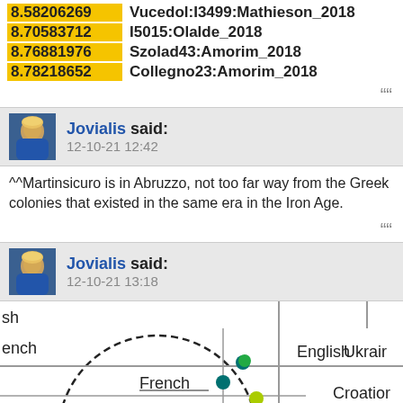8.58206269 Vucedol:I3499:Mathieson_2018
8.70583712 I5015:Olalde_2018
8.76881976 Szolad43:Amorim_2018
8.78218652 Collegno23:Amorim_2018
Jovialis said: 12-10-21 12:42
^^Martinsicuro is in Abruzzo, not too far way from the Greek colonies that existed in the same era in the Iron Age.
Jovialis said: 12-10-21 13:18
[Figure (other): Scatter plot showing European population clusters including English, Ukrainian, Croatian, French, N.Italian labels with colored dots and crosshair lines]